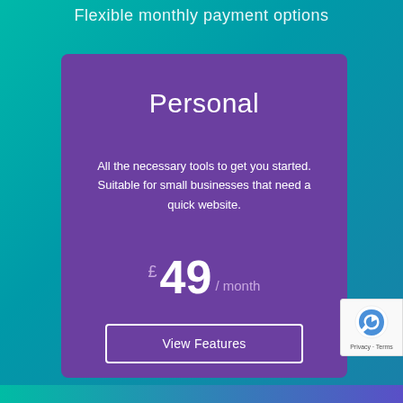Flexible monthly payment options
Personal
All the necessary tools to get you started. Suitable for small businesses that need a quick website.
£ 49 / month
View Features